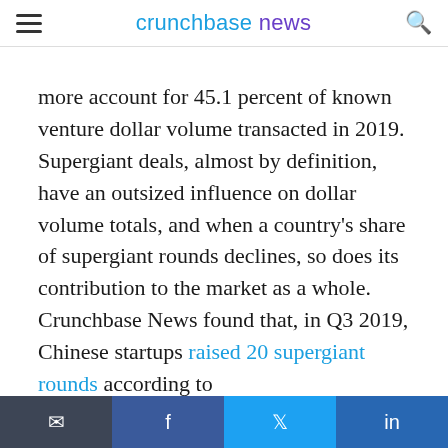crunchbase news
more account for 45.1 percent of known venture dollar volume transacted in 2019. Supergiant deals, almost by definition, have an outsized influence on dollar volume totals, and when a country's share of supergiant rounds declines, so does its contribution to the market as a whole. Crunchbase News found that, in Q3 2019, Chinese startups raised 20 supergiant rounds according to
email | facebook | twitter | linkedin